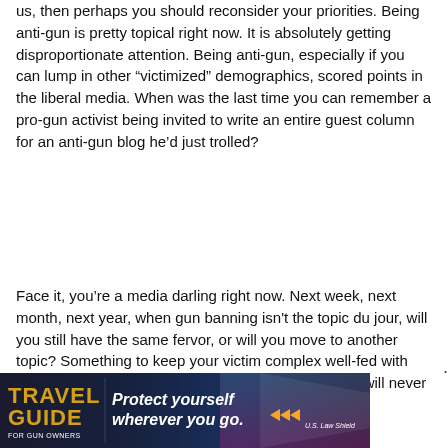us, then perhaps you should reconsider your priorities. Being anti-gun is pretty topical right now. It is absolutely getting disproportionate attention. Being anti-gun, especially if you can lump in other “victimized” demographics, scored points in the liberal media. When was the last time you can remember a pro-gun activist being invited to write an entire guest column for an anti-gun blog he’d just trolled?
Face it, you’re a media darling right now. Next week, next month, next year, when gun banning isn't the topic du jour, will you still have the same fervor, or will you move to another topic? Something to keep your victim complex well-fed with attention? I assure you, us pro-freedom gun owners will never back
[Figure (infographic): Advertisement banner for Travel Guide for Gun Owners featuring U.S. LawShield. Dark blue background with gold 'TRAVEL GUIDE' text on left, italic white text 'Protect yourself wherever you go.' with orange play arrows, and U.S. LawShield branding.]